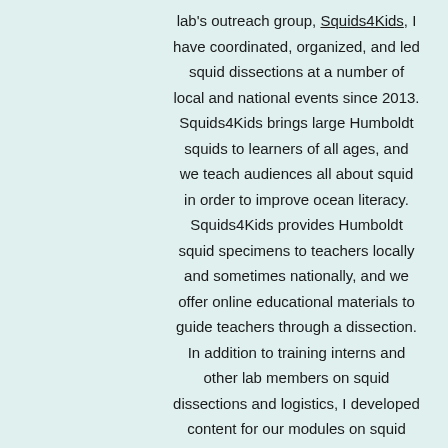lab's outreach group, Squids4Kids, I have coordinated, organized, and led squid dissections at a number of local and national events since 2013. Squids4Kids brings large Humboldt squids to learners of all ages, and we teach audiences all about squid in order to improve ocean literacy. Squids4Kids provides Humboldt squid specimens to teachers locally and sometimes nationally, and we offer online educational materials to guide teachers through a dissection. In addition to training interns and other lab members on squid dissections and logistics, I developed content for our modules on squid swimming and physiology.
With Squids4Kids, I have performed squid dissections at the Monterey WhaleFest,